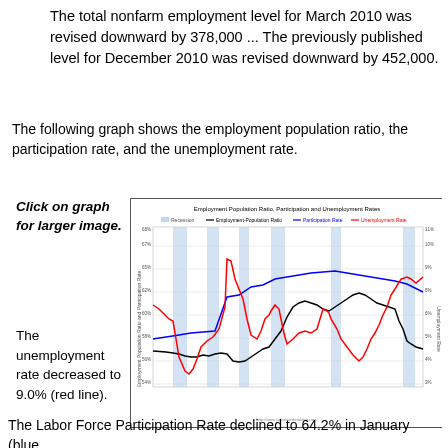The total nonfarm employment level for March 2010 was revised downward by 378,000 ... The previously published level for December 2010 was revised downward by 452,000.
The following graph shows the employment population ratio, the participation rate, and the unemployment rate.
Click on graph for larger image.
[Figure (line-chart): Line chart showing Employment-Population Ratio (black), Participation Rate (blue), and Unemployment Rate (red) over time with recession periods shaded in blue. Y-axis left shows Employment Population Ratio and Participation Rate (54%-68%), Y-axis right shows Unemployment Rate (3%-11%).]
The unemployment rate decreased to 9.0% (red line).
The Labor Force Participation Rate declined to 64.2% in January (blue